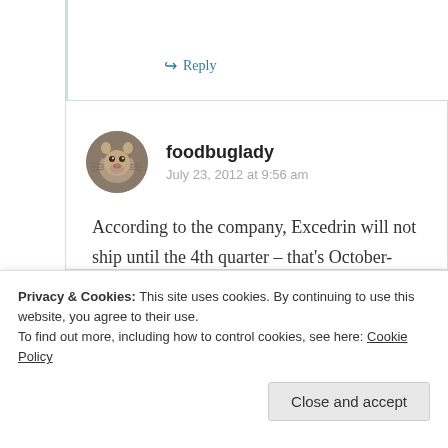↪ Reply
foodbuglady
July 23, 2012 at 9:56 am
According to the company, Excedrin will not ship until the 4th quarter – that's October-December 2012.
Privacy & Cookies: This site uses cookies. By continuing to use this website, you agree to their use. To find out more, including how to control cookies, see here: Cookie Policy
Close and accept